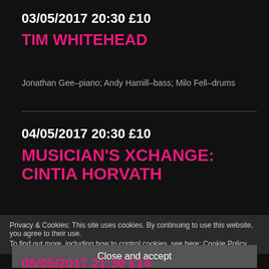03/05/2017 20:30 £10
TIM WHITEHEAD
Jonathan Gee–piano; Andy Hamill–bass; Milo Fell–drums
04/05/2017 20:30 £10
MUSICIAN'S XCHANGE: CINTIA HORVATH
Privacy & Cookies: This site uses cookies. By continuing to use this website, you agree to their use. To find out more, including how to control cookies, see here: Cookie Policy
Close and accept
05/05/2017 21:30 £14